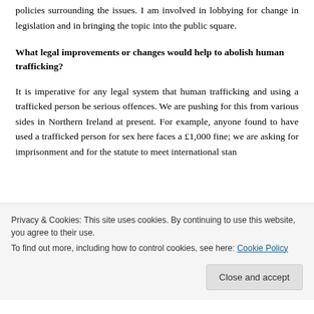policies surrounding the issues. I am involved in lobbying for change in legislation and in bringing the topic into the public square.
What legal improvements or changes would help to abolish human trafficking?
It is imperative for any legal system that human trafficking and using a trafficked person be serious offences. We are pushing for this from various sides in Northern Ireland at present. For example, anyone found to have used a trafficked person for sex here faces a £1,000 fine; we are asking for imprisonment and for the statute to meet international standards.
Privacy & Cookies: This site uses cookies. By continuing to use this website, you agree to their use.
To find out more, including how to control cookies, see here: Cookie Policy
Close and accept